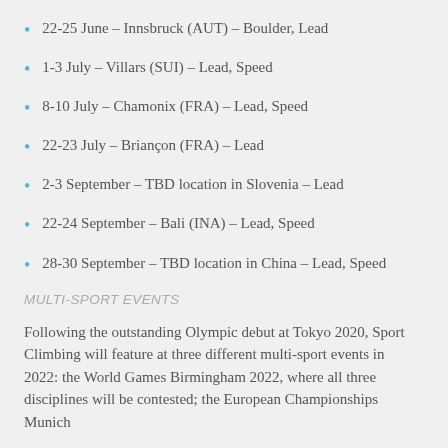22-25 June – Innsbruck (AUT) – Boulder, Lead
1-3 July – Villars (SUI) – Lead, Speed
8-10 July – Chamonix (FRA) – Lead, Speed
22-23 July – Briançon (FRA) – Lead
2-3 September – TBD location in Slovenia – Lead
22-24 September – Bali (INA) – Lead, Speed
28-30 September – TBD location in China – Lead, Speed
MULTI-SPORT EVENTS
Following the outstanding Olympic debut at Tokyo 2020, Sport Climbing will feature at three different multi-sport events in 2022: the World Games Birmingham 2022, where all three disciplines will be contested; the European Championships Munich